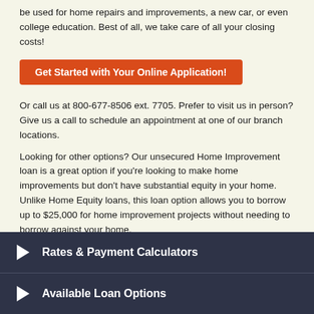be used for home repairs and improvements, a new car, or even college education. Best of all, we take care of all your closing costs!
[Figure (other): Orange button: Get Started with Your Online Application!]
Or call us at 800-677-8506 ext. 7705. Prefer to visit us in person? Give us a call to schedule an appointment at one of our branch locations.
Looking for other options? Our unsecured Home Improvement loan is a great option if you're looking to make home improvements but don't have substantial equity in your home. Unlike Home Equity loans, this loan option allows you to borrow up to $25,000 for home improvement projects without needing to borrow against your home.
[Figure (other): Orange button: Learn more about home improvement loans!]
Rates & Payment Calculators
Available Loan Options